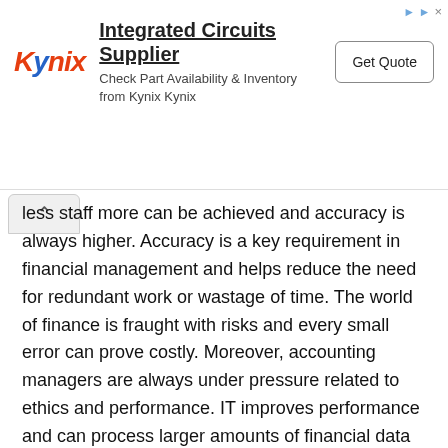[Figure (other): Advertisement banner for Kynix Integrated Circuits Supplier with logo, text, and Get Quote button]
less staff more can be achieved and accuracy is always higher. Accuracy is a key requirement in financial management and helps reduce the need for redundant work or wastage of time. The world of finance is fraught with risks and every small error can prove costly. Moreover, accounting managers are always under pressure related to ethics and performance. IT improves performance and can process larger amounts of financial data within less time. So, finance managers stand to gain a lot from IT.
The key advantages of IT in the area of financial management: